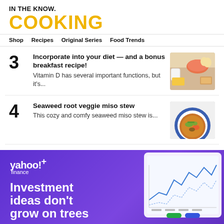IN THE KNOW.
COOKING
Shop  Recipes  Original Series  Food Trends
3 Incorporate into your diet — and a bonus breakfast recipe! Vitamin D has several important functions, but it's...
4 Seaweed root veggie miso stew This cozy and comfy seaweed miso stew is...
[Figure (illustration): Yahoo! Finance advertisement banner with purple background, Yahoo!+ finance logo, stock chart on tablet, text: Investment ideas don't grow on trees]